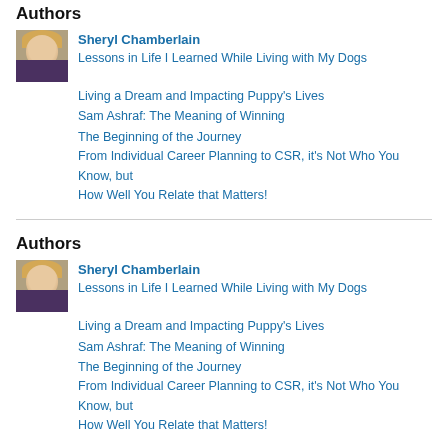Authors
Sheryl Chamberlain
Lessons in Life I Learned While Living with My Dogs
Living a Dream and Impacting Puppy's Lives
Sam Ashraf: The Meaning of Winning
The Beginning of the Journey
From Individual Career Planning to CSR, it's Not Who You Know, but How Well You Relate that Matters!
Authors
Sheryl Chamberlain
Lessons in Life I Learned While Living with My Dogs
Living a Dream and Impacting Puppy's Lives
Sam Ashraf: The Meaning of Winning
The Beginning of the Journey
From Individual Career Planning to CSR, it's Not Who You Know, but How Well You Relate that Matters!